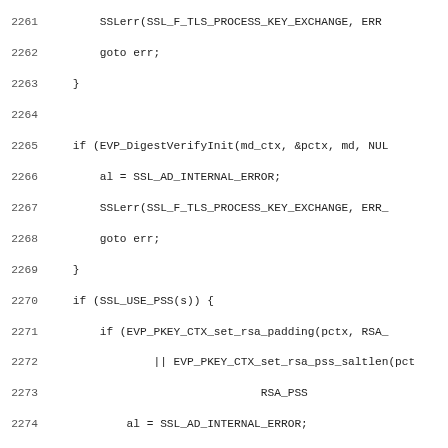Source code listing lines 2261-2292 showing SSL key exchange verification logic in C